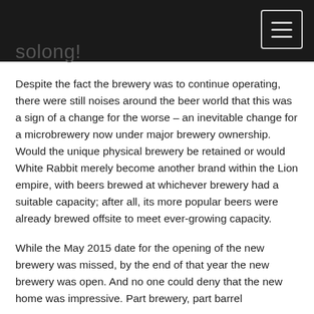solong!
Despite the fact the brewery was to continue operating, there were still noises around the beer world that this was a sign of a change for the worse – an inevitable change for a microbrewery now under major brewery ownership. Would the unique physical brewery be retained or would White Rabbit merely become another brand within the Lion empire, with beers brewed at whichever brewery had a suitable capacity; after all, its more popular beers were already brewed offsite to meet ever-growing capacity.
While the May 2015 date for the opening of the new brewery was missed, by the end of that year the new brewery was open. And no one could deny that the new home was impressive. Part brewery, part barrel